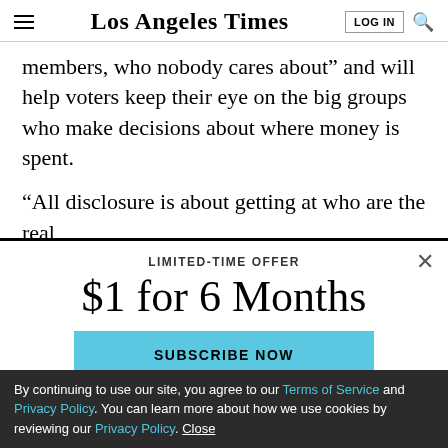Los Angeles Times
members, who nobody cares about” and will help voters keep their eye on the big groups who make decisions about where money is spent.
“All disclosure is about getting at who are the real
[Figure (screenshot): Subscription modal overlay with LIMITED-TIME OFFER label, '$1 for 6 Months' heading, and SUBSCRIBE NOW button in light blue]
By continuing to use our site, you agree to our Terms of Service and Privacy Policy. You can learn more about how we use cookies by reviewing our Privacy Policy. Close